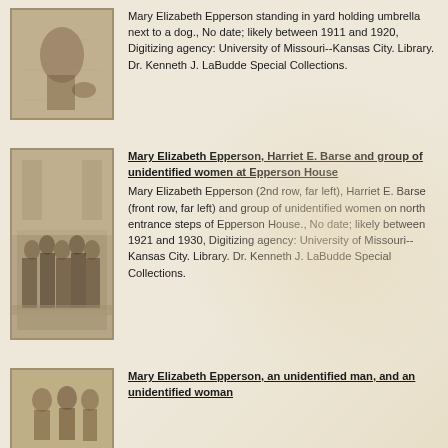[Figure (photo): Sepia-toned photograph of Mary Elizabeth Epperson standing in yard holding umbrella next to a dog]
Mary Elizabeth Epperson standing in yard holding umbrella next to a dog., No date; likely between 1911 and 1920, Digitizing agency: University of Missouri--Kansas City. Library. Dr. Kenneth J. LaBudde Special Collections.
[Figure (photo): Sepia-toned group photograph of Mary Elizabeth Epperson, Harriet E. Barse and group of unidentified women at Epperson House steps]
Mary Elizabeth Epperson, Harriet E. Barse and group of unidentified women at Epperson House
Mary Elizabeth Epperson (2nd row, far left), Harriet E. Barse (front row, far left) and group of unidentified women on north entrance steps of Epperson House., No date; likely between 1921 and 1930, Digitizing agency: University of Missouri--Kansas City. Library. Dr. Kenneth J. LaBudde Special Collections.
[Figure (photo): Sepia-toned photograph related to Mary Elizabeth Epperson, an unidentified man, and an unidentified woman]
Mary Elizabeth Epperson, an unidentified man, and an unidentified woman